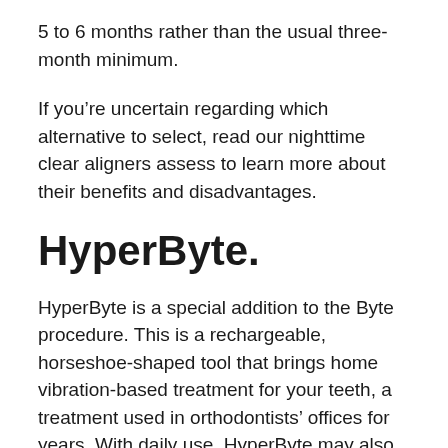5 to 6 months rather than the usual three-month minimum.
If you're uncertain regarding which alternative to select, read our nighttime clear aligners assess to learn more about their benefits and disadvantages.
HyperByte.
HyperByte is a special addition to the Byte procedure. This is a rechargeable, horseshoe-shaped tool that brings home vibration-based treatment for your teeth, a treatment used in orthodontists' offices for years. With daily use, HyperByte may also reduce your treatment time in half, supplying